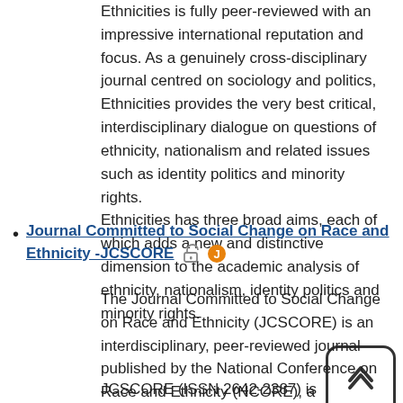Ethnicities is fully peer-reviewed with an impressive international reputation and focus. As a genuinely cross-disciplinary journal centred on sociology and politics, Ethnicities provides the very best critical, interdisciplinary dialogue on questions of ethnicity, nationalism and related issues such as identity politics and minority rights. Ethnicities has three broad aims, each of which adds a new and distinctive dimension to the academic analysis of ethnicity, nationalism, identity politics and minority rights.
Journal Committed to Social Change on Race and Ethnicity -JCSCORE
The Journal Committed to Social Change on Race and Ethnicity (JCSCORE) is an interdisciplinary, peer-reviewed journal published by the National Conference on Race and Ethnicity (NCORE), a production of the University of Oklahoma Outreach.
JCSCORE (ISSN 2642-2387) is committed to promoting an exchange of ideas that can transform lives, enhance learning and improve race relations in higher education.